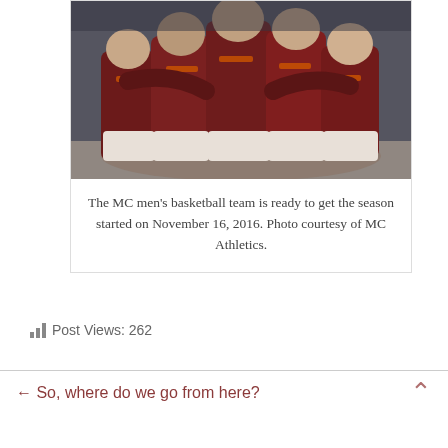[Figure (photo): Basketball team huddle — players in dark maroon jerseys with orange accents seen from behind, arms around each other]
The MC men's basketball team is ready to get the season started on November 16, 2016. Photo courtesy of MC Athletics.
Post Views: 262
← So, where do we go from here?